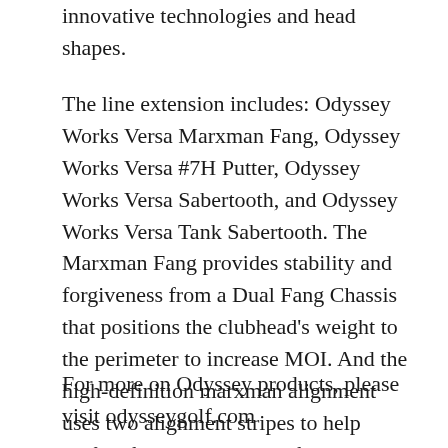world, along with some of Odyssey's most innovative technologies and head shapes.
The line extension includes: Odyssey Works Versa Marxman Fang, Odyssey Works Versa #7H Putter, Odyssey Works Versa Sabertooth, and Odyssey Works Versa Tank Sabertooth. The Marxman Fang provides stability and forgiveness from a Dual Fang Chassis that positions the clubhead's weight to the perimeter to increase MOI. And the high-definition marxman alignment uses two alignment stripes to help golfers frame the ball and find the target line. The new Odyssey Works putters start at $179.99.
For more on Odyssey products, please visit odysseygolf.com